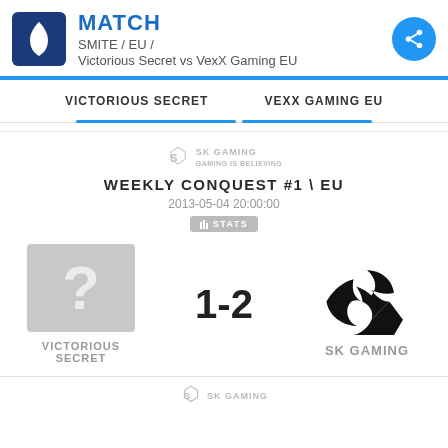MATCH
SMITE / EU /
Victorious Secret vs VexX Gaming EU
VICTORIOUS SECRET	VEXX GAMING EU
[Figure (logo): SK Gaming logo small with tagline]
WEEKLY CONQUEST #1 \ EU
2013-05-04 20:00:00
STATS
[Figure (other): Unknown team logo (grey box with question mark) for Victorious Secret, score 1-2, SK Gaming logo]
VICTORIOUS SECRET
SK GAMING
[Figure (logo): SK Gaming logo at bottom]